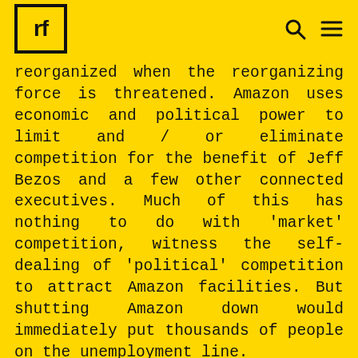rf
reorganized when the reorganizing force is threatened. Amazon uses economic and political power to limit and / or eliminate competition for the benefit of Jeff Bezos and a few other connected executives. Much of this has nothing to do with 'market' competition, witness the self-dealing of 'political' competition to attract Amazon facilities. But shutting Amazon down would immediately put thousands of people on the unemployment line.

In similar fashion, 'left' critiques of Donald Trump's trade war— an apparent negotiating tactic for winning trade concessions, have centered on the distribution of economic pain, not the widely destructive consequences of neoliberal trade agreements, or their being structured to cause maximum economic pain to